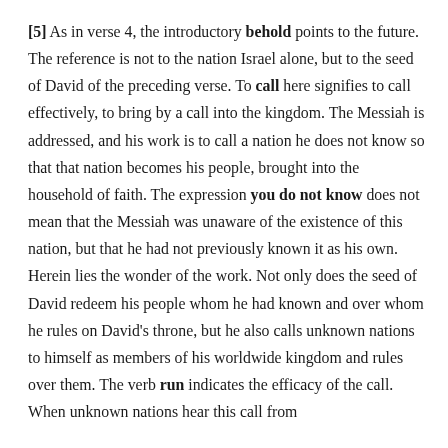[5] As in verse 4, the introductory behold points to the future. The reference is not to the nation Israel alone, but to the seed of David of the preceding verse. To call here signifies to call effectively, to bring by a call into the kingdom. The Messiah is addressed, and his work is to call a nation he does not know so that that nation becomes his people, brought into the household of faith. The expression you do not know does not mean that the Messiah was unaware of the existence of this nation, but that he had not previously known it as his own. Herein lies the wonder of the work. Not only does the seed of David redeem his people whom he had known and over whom he rules on David's throne, but he also calls unknown nations to himself as members of his worldwide kingdom and rules over them. The verb run indicates the efficacy of the call. When unknown nations hear this call from